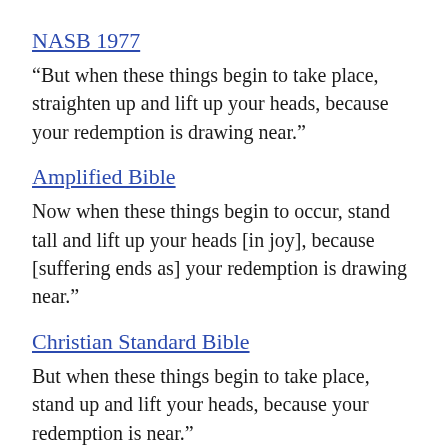NASB 1977
“But when these things begin to take place, straighten up and lift up your heads, because your redemption is drawing near.”
Amplified Bible
Now when these things begin to occur, stand tall and lift up your heads [in joy], because [suffering ends as] your redemption is drawing near.”
Christian Standard Bible
But when these things begin to take place, stand up and lift your heads, because your redemption is near.”